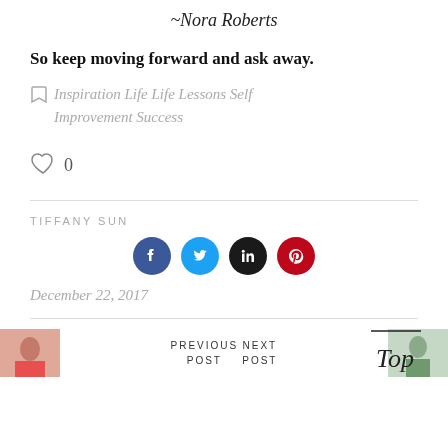~Nora Roberts
So keep moving forward and ask away.
Inspiration Life Life Lessons Self Improvement Success
0
TIFFANY SUN
[Figure (infographic): Social media icons: Facebook (blue circle), Twitter (light blue circle), LinkedIn (black circle), Pinterest (red circle)]
December 22, 2017
Top
PREVIOUS POST  NEXT POST